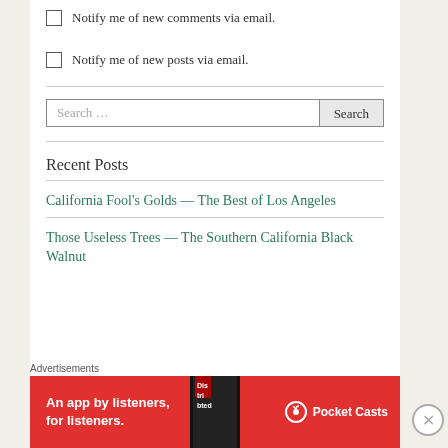Notify me of new comments via email.
Notify me of new posts via email.
Recent Posts
California Fool's Golds — The Best of Los Angeles
Those Useless Trees — The Southern California Black Walnut
[Figure (screenshot): Pocket Casts advertisement banner: red background with white text 'An app by listeners, for listeners.' and Pocket Casts logo with podcast app image.]